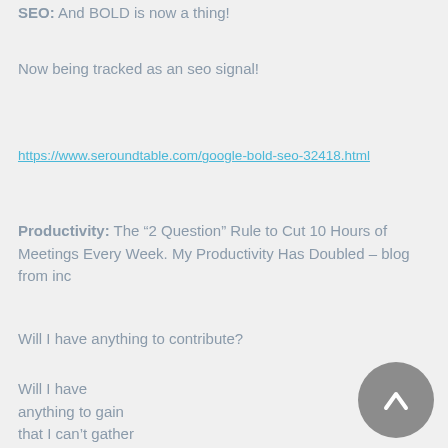SEO: And BOLD is now a thing!
Now being tracked as an seo signal!
https://www.seroundtable.com/google-bold-seo-32418.html
Productivity: The “2 Question” Rule to Cut 10 Hours of Meetings Every Week. My Productivity Has Doubled – blog from inc
Will I have anything to contribute?
Will I have anything to gain that I can’t gather via meeting notes or recording?
https://www.inc.com/jeff-steen/i-used-2-question-rule-to-cut-10-hours-of-meetings-every-week-my-productivity-has-doubled.html
Favourite podcast/audio book/ book of the moment
Book – The Long Game: How to Be a Long-Term Thinker in a Short-Term